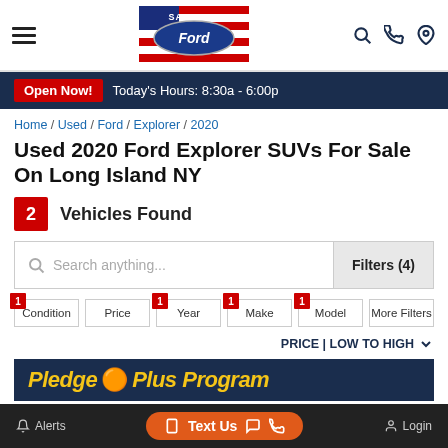Sayville Ford — Open Now! Today's Hours: 8:30a - 6:00p
Home / Used / Ford / Explorer / 2020
Used 2020 Ford Explorer SUVs For Sale On Long Island NY
2 Vehicles Found
Search anything... Filters (4)
Condition | Price | Year | Make | Model | More Filters
PRICE | LOW TO HIGH
[Figure (screenshot): Pledge Plus Program banner in dark blue with yellow italic text]
Alerts   Text Us   Login